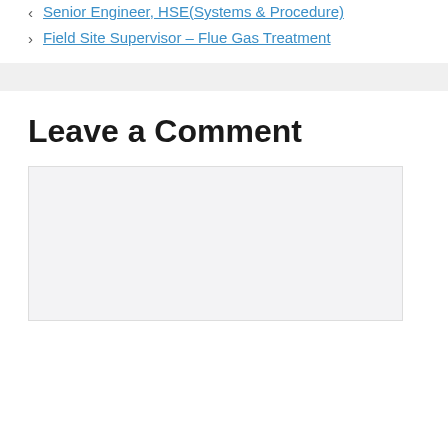< Senior Engineer, HSE(Systems & Procedure)
> Field Site Supervisor – Flue Gas Treatment
Leave a Comment